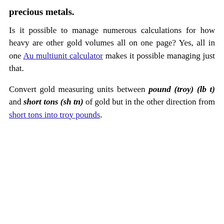precious metals.
Is it possible to manage numerous calculations for how heavy are other gold volumes all on one page? Yes, all in one Au multiunit calculator makes it possible managing just that.
Convert gold measuring units between pound (troy) (lb t) and short tons (sh tn) of gold but in the other direction from short tons into troy pounds.